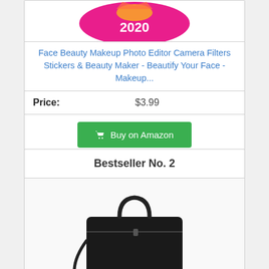[Figure (screenshot): Product app icon - Face Beauty Makeup app with 2020 text on pink background]
Face Beauty Makeup Photo Editor Camera Filters Stickers & Beauty Maker - Beautify Your Face - Makeup...
| Price: | $3.99 |
| --- | --- |
Buy on Amazon
Bestseller No. 2
[Figure (photo): Black makeup travel bag/case with handle and shoulder strap]